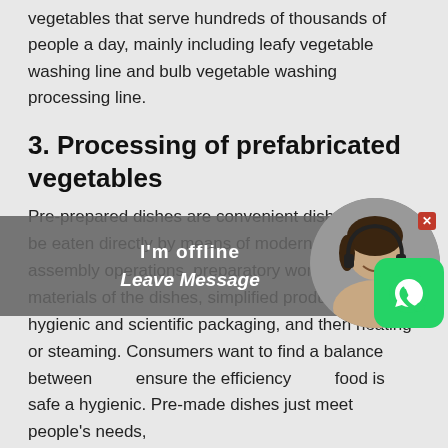vegetables that serve hundreds of thousands of people a day, mainly including leafy vegetable washing line and bulb vegetable washing processing line.
3. Processing of prefabricated vegetables
Pre-prepared dishes are convenient dishes that can be eaten directly by means of modern standardized assembly operations, preparatory work for the raw materials of the dishes, simplified production steps, hygienic and scientific packaging, and then heating or steaming. Consumers want to find a balance between [overlay] ensure the efficiency [overlay] food is safe and hygienic. Pre-made dishes just meet people's needs,
[Figure (other): Chat widget overlay showing 'I'm offline / Leave Message' bar with a customer service avatar photo, a red close button, and a green WhatsApp button]